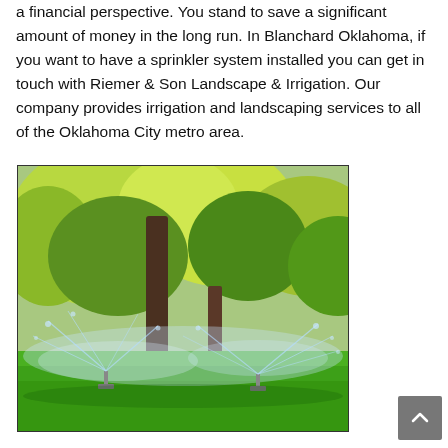a financial perspective. You stand to save a significant amount of money in the long run. In Blanchard Oklahoma, if you want to have a sprinkler system installed you can get in touch with Riemer & Son Landscape & Irrigation. Our company provides irrigation and landscaping services to all of the Oklahoma City metro area.
[Figure (photo): Outdoor sprinkler system spraying water over a green lawn with trees in the background.]